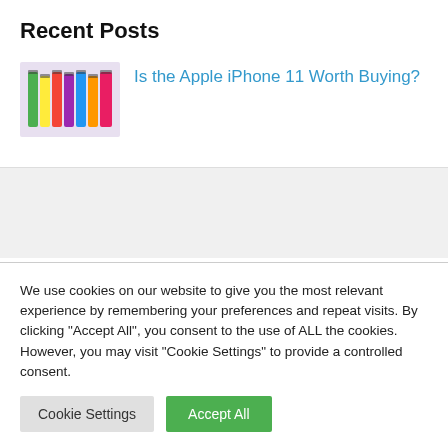Recent Posts
[Figure (photo): Thumbnail image of multiple iPhone 11 handsets in various colors lined up side by side]
Is the Apple iPhone 11 Worth Buying?
We use cookies on our website to give you the most relevant experience by remembering your preferences and repeat visits. By clicking “Accept All”, you consent to the use of ALL the cookies. However, you may visit "Cookie Settings" to provide a controlled consent.
Cookie Settings
Accept All